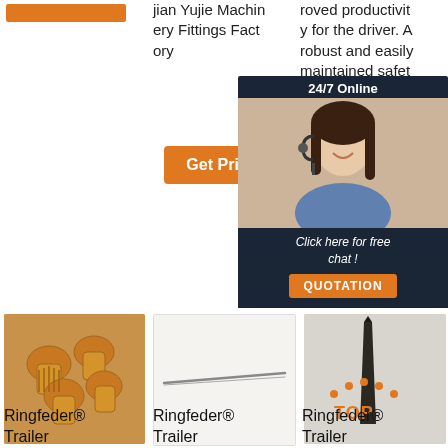[Figure (photo): Orange bar/button at top left column]
jian Yujie Machinery Fittings Factory
roved productivity for the driver. A robust and easily maintained safety de...
Get Price
[Figure (infographic): 24/7 Online chat popup with female customer service agent, 'Click here for free chat!' text and QUOTATION button]
G
[Figure (photo): Gold/bronze drill bits - Ringfeder Trailer product]
[Figure (photo): Needle/pin tool - Ringfeder Trailer product]
[Figure (photo): Dark pointed tool with TOP logo - Ringfeder Trailer product]
Ringfeder® Trailer
Ringfeder® Trailer
Ringfeder® Trailer